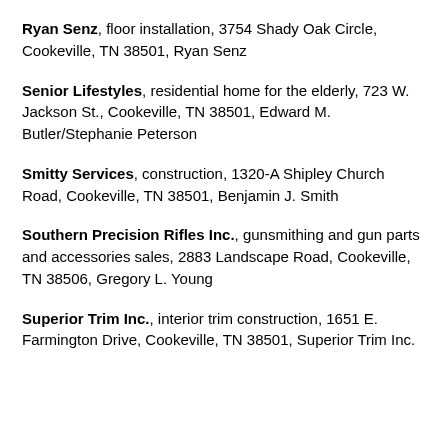Ryan Senz, floor installation, 3754 Shady Oak Circle, Cookeville, TN 38501, Ryan Senz
Senior Lifestyles, residential home for the elderly, 723 W. Jackson St., Cookeville, TN 38501, Edward M. Butler/Stephanie Peterson
Smitty Services, construction, 1320-A Shipley Church Road, Cookeville, TN 38501, Benjamin J. Smith
Southern Precision Rifles Inc., gunsmithing and gun parts and accessories sales, 2883 Landscape Road, Cookeville, TN 38506, Gregory L. Young
Superior Trim Inc., interior trim construction, 1651 E. Farmington Drive, Cookeville, TN 38501, Superior Trim Inc.